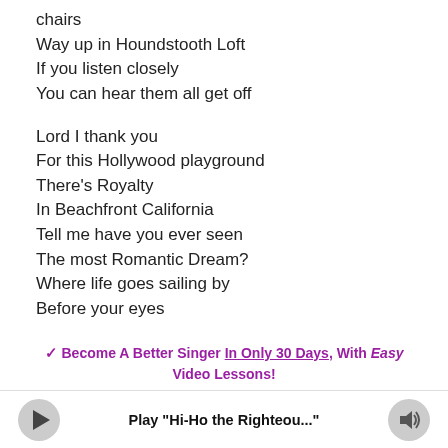chairs
Way up in Houndstooth Loft
If you listen closely
You can hear them all get off
Lord I thank you
For this Hollywood playground
There's Royalty
In Beachfront California
Tell me have you ever seen
The most Romantic Dream?
Where life goes sailing by
Before your eyes
✓ Become A Better Singer In Only 30 Days, With Easy Video Lessons!
Play "Hi-Ho the Righteou..."